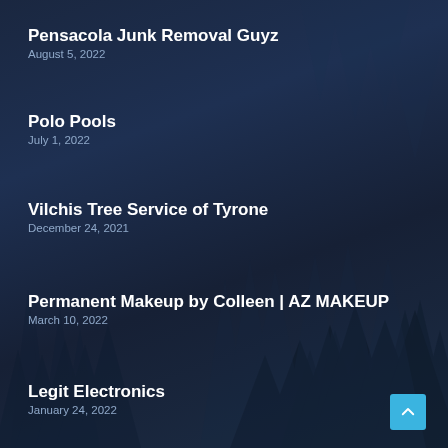Pensacola Junk Removal Guyz
August 5, 2022
Polo Pools
July 1, 2022
Vilchis Tree Service of Tyrone
December 24, 2021
Permanent Makeup by Colleen | AZ MAKEUP
March 10, 2022
Legit Electronics
January 24, 2022